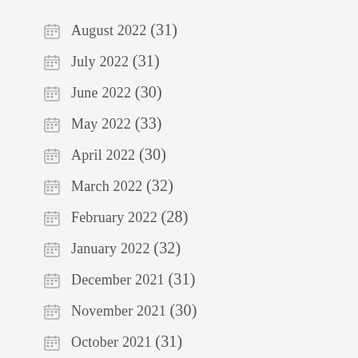August 2022 (31)
July 2022 (31)
June 2022 (30)
May 2022 (33)
April 2022 (30)
March 2022 (32)
February 2022 (28)
January 2022 (32)
December 2021 (31)
November 2021 (30)
October 2021 (31)
September 2021 (30)